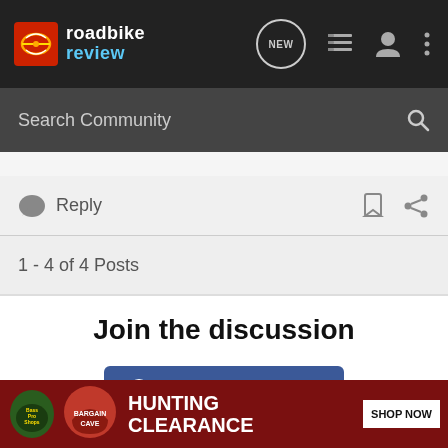[Figure (screenshot): Road Bike Review website navigation bar with logo, NEW badge, list icon, user icon, and menu dots]
Search Community
Reply
1 - 4 of 4 Posts
Join the discussion
Continue with Facebook
Continue with Google
[Figure (advertisement): Bass Pro Shops Bargain Cave Hunting Clearance - Shop Now ad banner]